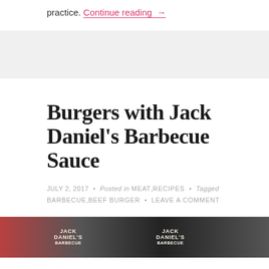practice. Continue reading →
[Figure (other): Advertisement banner (gray background)]
Burgers with Jack Daniel's Barbecue Sauce
JULY 2, 2017 • Posted in MEAT, RECIPES • Tagged BARBECUE, BEEF BURGER • LEAVE A COMMENT
[Figure (photo): Photo showing two Jack Daniel's Barbecue Sauce bottles, partially cropped at bottom of page]